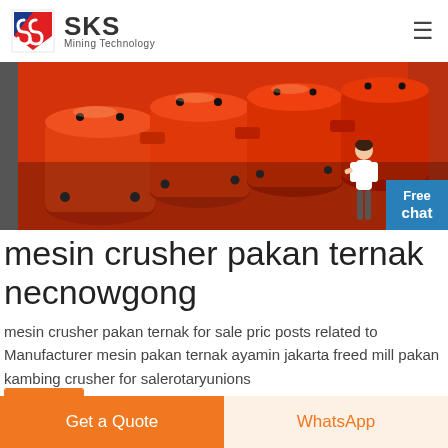SKS Mining Technology
[Figure (photo): Close-up photo of orange industrial crusher machine parts with bolts and metal connections]
mesin crusher pakan ternak necnowgong
mesin crusher pakan ternak for sale pric posts related to Manufacturer mesin pakan ternak ayamin jakarta freed mill pakan kambing crusher for salerotaryunions